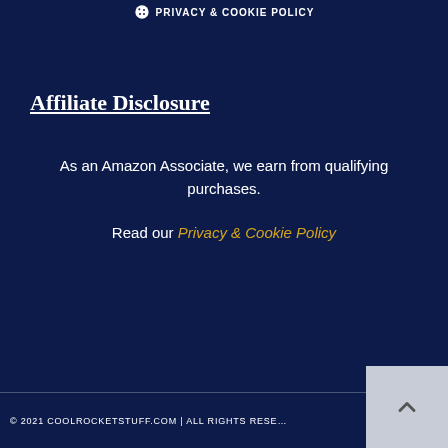PRIVACY & COOKIE POLICY
Affiliate Disclosure
As an Amazon Associate, we earn from qualifying purchases.
Read our Privacy & Cookie Policy
© 2021 COOLROCKETSTUFF.COM | ALL RIGHTS RESERVED